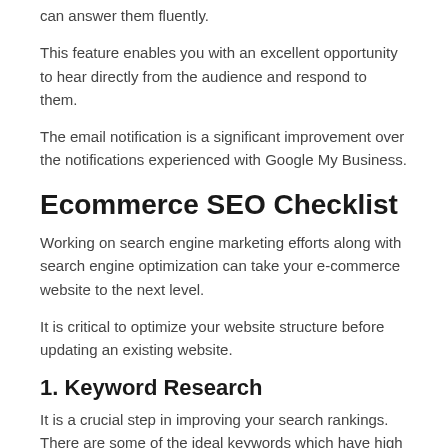can answer them fluently.
This feature enables you with an excellent opportunity to hear directly from the audience and respond to them.
The email notification is a significant improvement over the notifications experienced with Google My Business.
Ecommerce SEO Checklist
Working on search engine marketing efforts along with search engine optimization can take your e-commerce website to the next level.
It is critical to optimize your website structure before updating an existing website.
1. Keyword Research
It is a crucial step in improving your search rankings. There are some of the ideal keywords which have high